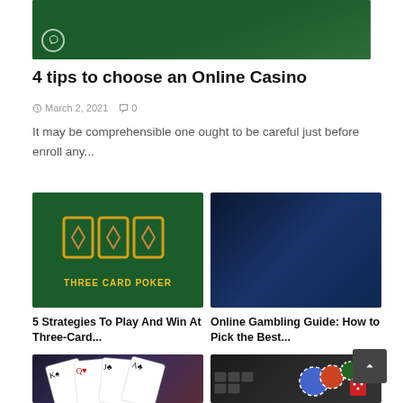[Figure (photo): Dark green background banner image with a circular Viber/phone icon in the lower left corner]
4 tips to choose an Online Casino
March 2, 2021   0
It may be comprehensible one ought to be careful just before enroll any...
[Figure (photo): Three Card Poker branded image with yellow card outlines showing diamond suits on a green felt background, with 'THREE CARD POKER' text in yellow]
[Figure (photo): Online gambling promotional image with a laptop showing roulette wheel, slot machine reels, dice, and a thumbs up coin badge on a blue-lit background]
5 Strategies To Play And Win At Three-Card...
Online Gambling Guide: How to Pick the Best...
[Figure (photo): Playing cards (King, Queen, Jack of clubs and spades) fanned out on a dark background]
[Figure (photo): Casino chips, dice, and keyboard on a dark background]